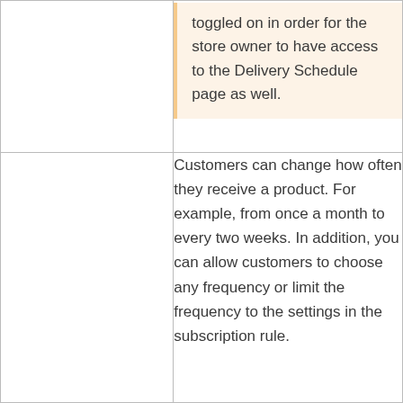toggled on in order for the store owner to have access to the Delivery Schedule page as well.
Customers can change how often they receive a product. For example, from once a month to every two weeks. In addition, you can allow customers to choose any frequency or limit the frequency to the settings in the subscription rule.